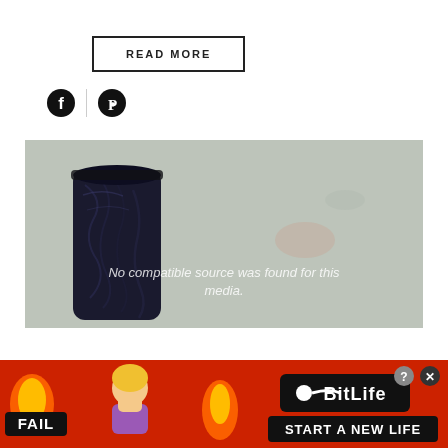READ MORE
[Figure (screenshot): Social media share icons: Facebook and Pinterest]
[Figure (photo): Photo of a dark blue/navy rolled or folded fabric or material on a concrete surface. Overlay text reads: No compatible source was found for this media.]
[Figure (screenshot): Advertisement banner for BitLife game. Shows fire emojis, a cartoon blonde woman, FAIL text, flame graphics, BitLife logo, and text 'START A NEW LIFE'. Has close (?) and X buttons.]